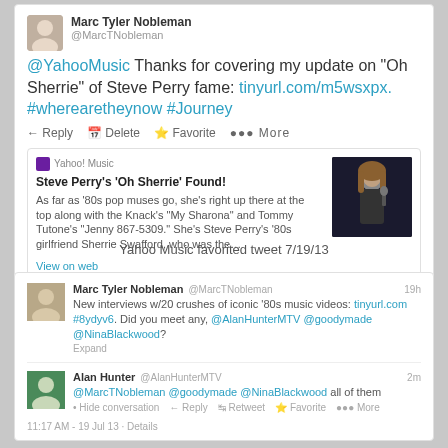[Figure (screenshot): Twitter/tweet screenshot of Marc Tyler Nobleman tweet mentioning @YahooMusic about Steve Perry's 'Oh Sherrie', with Yahoo Music article preview card, retweet/favorite counts, and timestamp 5:39 PM - 18 Jul 13]
Yahoo Music favorited tweet 7/19/13
[Figure (screenshot): Twitter conversation screenshot showing Marc Tyler Nobleman tweet about 20 crushes of iconic 80s music videos and Alan Hunter reply, with timestamps and actions]